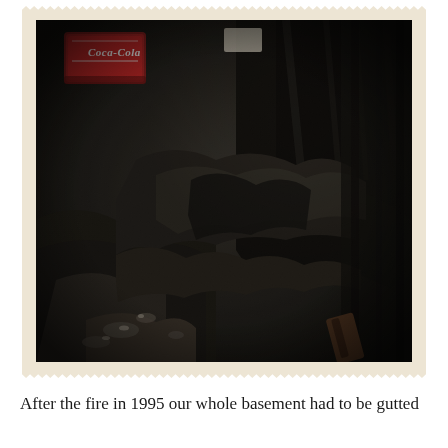[Figure (photo): A vintage black and white photograph with a scalloped/wavy cream-colored border (polaroid/old photo style). The photo shows fire damage in a basement — charred debris, heavily burned rubble, damaged walls and surfaces covered in soot. In the upper left corner a Coca-Cola branded box or crate is visible in red. The entire scene is dark with deep blacks and grays depicting significant fire damage.]
After the fire in 1995 our whole basement had to be gutted